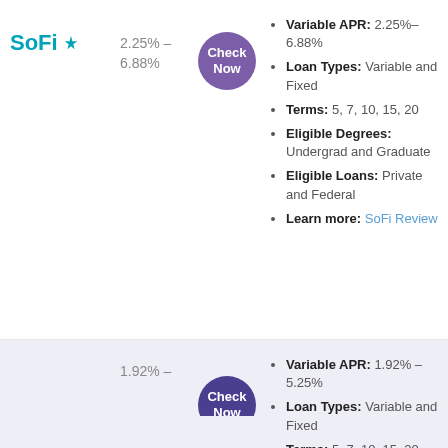[Figure (logo): SoFi logo with snowflake icon in teal/cyan color]
2.25% - 6.88%
[Figure (other): Purple circle button with text Check Now]
Variable APR: 2.25%–6.88%
Loan Types: Variable and Fixed
Terms: 5, 7, 10, 15, 20
Eligible Degrees: Undergrad and Graduate
Eligible Loans: Private and Federal
Learn more: SoFi Review
1.92% -
[Figure (other): Dark purple circle button partially visible]
Variable APR: 1.92% – 5.25%
Loan Types: Variable and Fixed
Terms: 5, 7, 10, 15, 20
Eligible